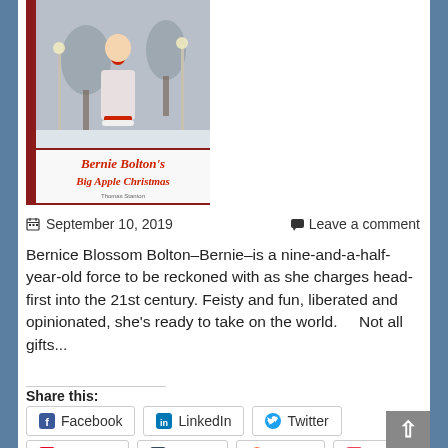[Figure (illustration): Book cover for 'Bernie Bolton's Big Apple Christmas' showing a child in a snowy park setting with red and white winter clothing, red bow ornament]
📅 September 10, 2019    💬 Leave a comment
Bernice Blossom Bolton–Bernie–is a nine-and-a-half-year-old force to be reckoned with as she charges head-first into the 21st century. Feisty and fun, liberated and opinionated, she's ready to take on the world.    Not all gifts...
Share this:
Facebook
LinkedIn
Twitter
Pinterest
Tumblr
Reddit
Pocket